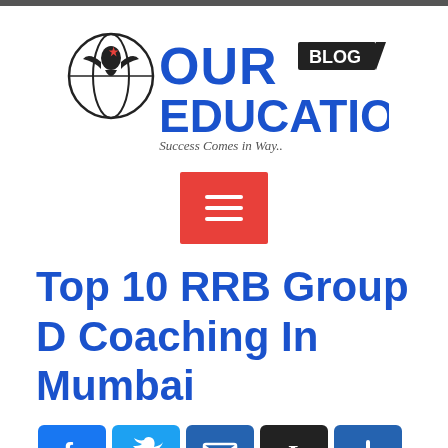[Figure (logo): Our Blog Education logo with eagle icon, bold blue EDUCATION text, BLOG in white on black banner, tagline: Success Comes in Way..]
[Figure (other): Red hamburger/menu button with three white horizontal lines]
Top 10 RRB Group D Coaching In Mumbai
[Figure (other): Social sharing icons row: Facebook (blue), Twitter (light blue), Mail (blue), Instapaper (black with I), More/Plus (blue)]